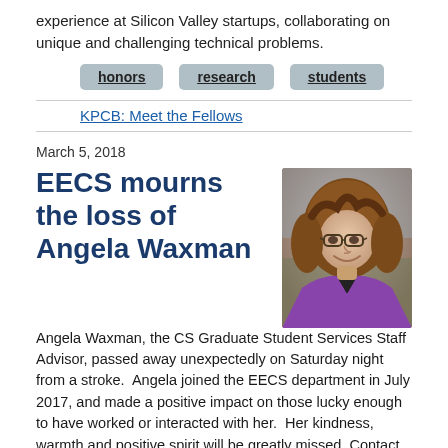experience at Silicon Valley startups, collaborating on unique and challenging technical problems.
honors
research
students
KPCB: Meet the Fellows
March 5, 2018
EECS mourns the loss of Angela Waxman
[Figure (photo): Headshot photo of Angela Waxman, a woman with shoulder-length brown hair, glasses, and a purple top, smiling.]
Angela Waxman, the CS Graduate Student Services Staff Advisor, passed away unexpectedly on Saturday night from a stroke.  Angela joined the EECS department in July 2017, and made a positive impact on those lucky enough to have worked or interacted with her.  Her kindness, warmth and positive spirit will be greatly missed. Contact Shirley Salanio (shirley@eecs.berkeley.edu) for